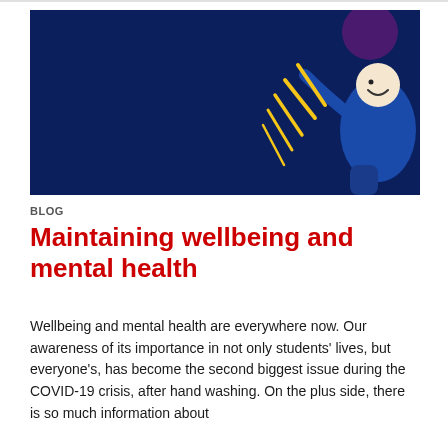[Figure (illustration): Dark navy blue banner image with a cartoon illustration on the right side: a smiling person in a blue outfit with a purple/dark hat, raising one arm, with yellow lightning bolt or scratch marks behind them.]
BLOG
Maintaining wellbeing and mental health
Wellbeing and mental health are everywhere now. Our awareness of its importance in not only students' lives, but everyone's, has become the second biggest issue during the COVID-19 crisis, after hand washing. On the plus side, there is so much information about